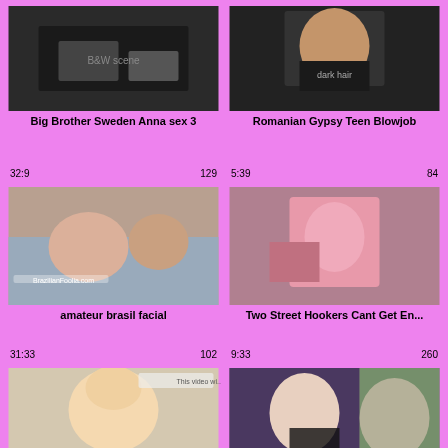[Figure (photo): Thumbnail image - black and white bedroom scene]
Big Brother Sweden Anna sex 3
32:9   129
[Figure (photo): Thumbnail image - woman with dark hair]
Romanian Gypsy Teen Blowjob
5:39   84
[Figure (photo): Thumbnail image - couple on bed]
amateur brasil facial
31:33   102
[Figure (photo): Thumbnail image - close up pink]
Two Street Hookers Cant Get En...
9:33   260
[Figure (photo): Thumbnail image - blonde woman face]
[Figure (photo): Thumbnail image - animated blonde woman]